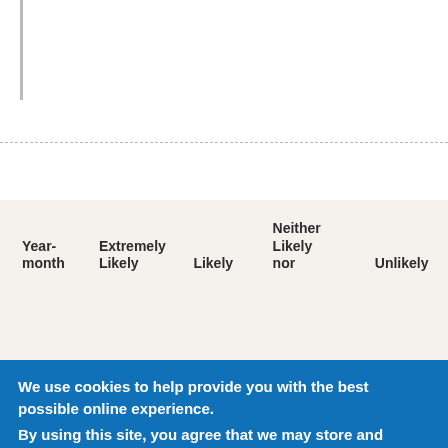| Year-month | Extremely Likely | Likely | Neither Likely nor | Unlikely |
| --- | --- | --- | --- | --- |
We use cookies to help provide you with the best possible online experience.
By using this site, you agree that we may store and access cookies on your device. Cookie policy. Cookie settings.